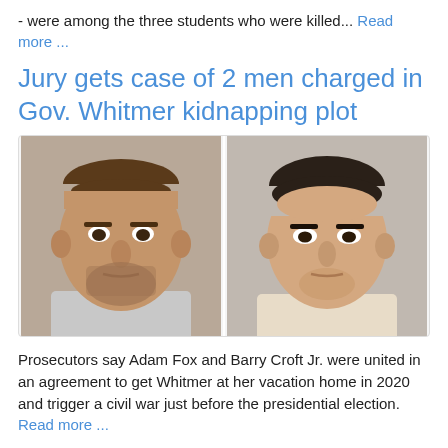- were among the three students who were killed... Read more ...
Jury gets case of 2 men charged in Gov. Whitmer kidnapping plot
[Figure (photo): Two mugshot photos side by side: Adam Fox (left, middle-aged man with stubble and receding hair) and Barry Croft Jr. (right, younger man with short dark hair slicked back)]
Prosecutors say Adam Fox and Barry Croft Jr. were united in an agreement to get Whitmer at her vacation home in 2020 and trigger a civil war just before the presidential election. Read more ...
Ford slashes 3,000 white-collar jobs in